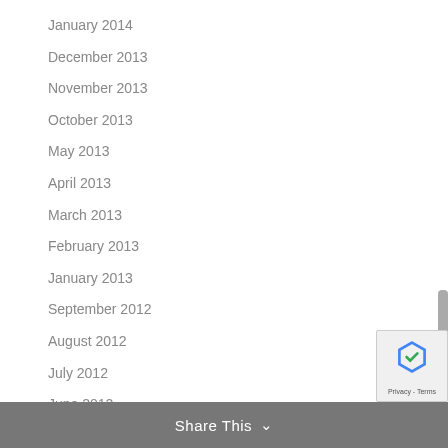January 2014
December 2013
November 2013
October 2013
May 2013
April 2013
March 2013
February 2013
January 2013
September 2012
August 2012
July 2012
June 2012
May 2012
April 2012
March 2012
February 2012
January 2012
Share This